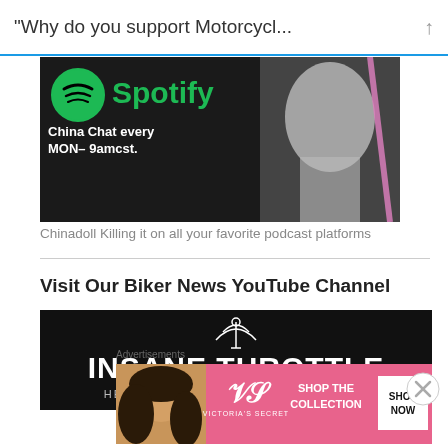“Why do you support Motorcycl...
[Figure (screenshot): Spotify banner ad for China Chat podcast. Black background with Spotify logo and text 'China Chat every MON- 9amcst.' with a woman's image on the right.]
Chinadoll Killing it on all your favorite podcast platforms
Visit Our Biker News YouTube Channel
[Figure (logo): Insane Throttle promotional banner. Black background with radio tower icon, bold text 'INSANE THROTTLE' and subtitle 'HEAVYWEIGHT KING OF BIKER RADIO']
Advertisements
[Figure (photo): Victoria's Secret advertisement banner. Pink background with woman's photo on left, 'SHOP THE COLLECTION' text and 'SHOP NOW' button on right with Victoria's Secret logo.]